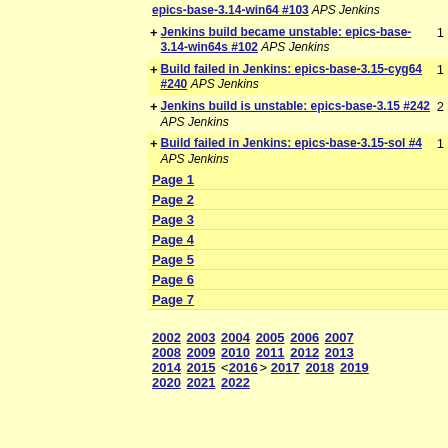+ Jenkins build became unstable: epics-base-3.14-win64s #102 APS Jenkins  1
+ Build failed in Jenkins: epics-base-3.15-cyg64 #240 APS Jenkins  1
+ Jenkins build is unstable: epics-base-3.15 #242 APS Jenkins  2
+ Build failed in Jenkins: epics-base-3.15-sol #4 APS Jenkins  1
Page 1
Page 2
Page 3
Page 4
Page 5
Page 6
Page 7
2002 2003 2004 2005 2006 2007 2008 2009 2010 2011 2012 2013 2014 2015 <2016> 2017 2018 2019 2020 2021 2022